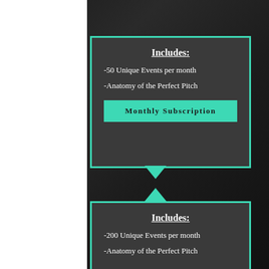Includes:
-50 Unique Events per month
-Anatomy of the Perfect Pitch
Monthly Subscription
Includes:
-200 Unique Events per month
-Anatomy of the Perfect Pitch